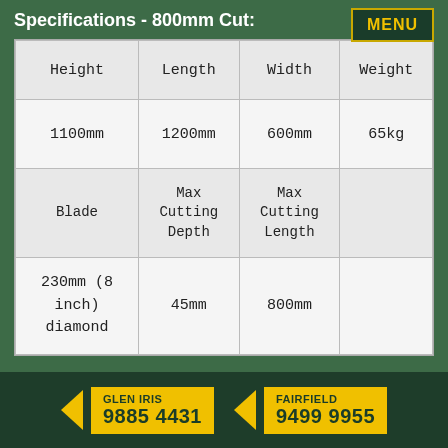Specifications - 800mm Cut:
| Height | Length | Width | Weight |
| --- | --- | --- | --- |
| 1100mm | 1200mm | 600mm | 65kg |
| Blade | Max Cutting Depth | Max Cutting Length |  |
| 230mm (8 inch) diamond | 45mm | 800mm |  |
GLEN IRIS 9885 4431   FAIRFIELD 9499 9955